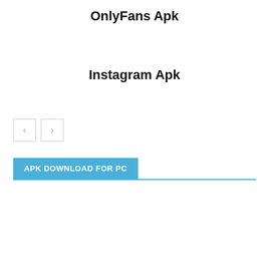OnlyFans Apk
Instagram Apk
[Figure (other): Navigation buttons with left and right arrows (< and >) styled as small square bordered buttons]
APK DOWNLOAD FOR PC